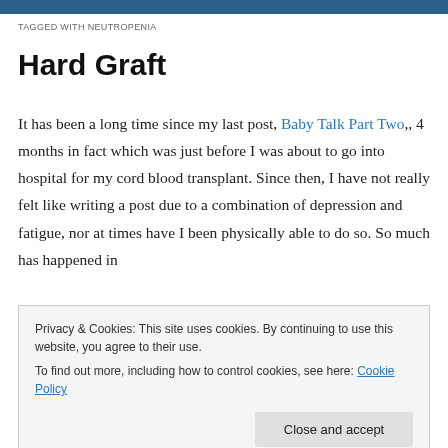TAGGED WITH NEUTROPENIA
Hard Graft
It has been a long time since my last post, Baby Talk Part Two,, 4 months in fact which was just before I was about to go into hospital for my cord blood transplant. Since then, I have not really felt like writing a post due to a combination of depression and fatigue, nor at times have I been physically able to do so. So much has happened in
Privacy & Cookies: This site uses cookies. By continuing to use this website, you agree to their use.
To find out more, including how to control cookies, see here: Cookie Policy
Close and accept